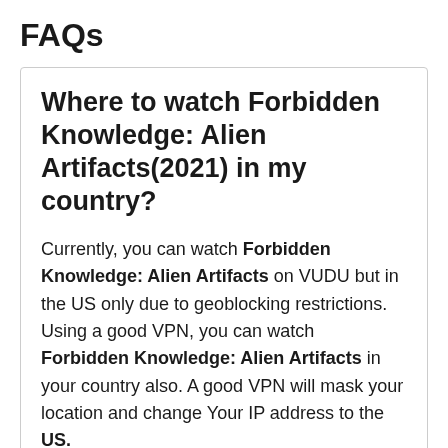FAQs
Where to watch Forbidden Knowledge: Alien Artifacts(2021) in my country?
Currently, you can watch Forbidden Knowledge: Alien Artifacts on VUDU but in the US only due to geoblocking restrictions. Using a good VPN, you can watch Forbidden Knowledge: Alien Artifacts in your country also. A good VPN will mask your location and change Your IP address to the US.